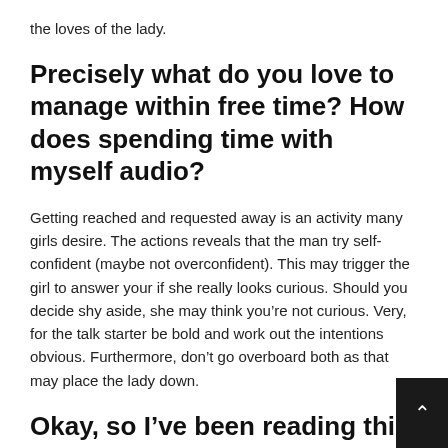the loves of the lady.
Precisely what do you love to manage within free time? How does spending time with myself audio?
Getting reached and requested away is an activity many girls desire. The actions reveals that the man try self-confident (maybe not overconfident). This may trigger the girl to answer your if she really looks curious. Should you decide shy aside, she may think you’re not curious. Very, for the talk starter be bold and work out the intentions obvious. Furthermore, don’t go overboard both as that may place the lady down.
Okay, so I’ve been reading this article